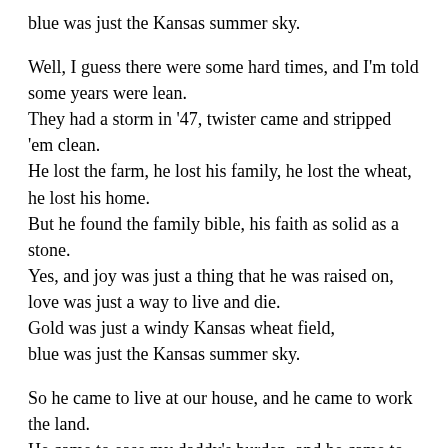blue was just the Kansas summer sky.
Well, I guess there were some hard times, and I'm told some years were lean.
They had a storm in '47, twister came and stripped 'em clean.
He lost the farm, he lost his family, he lost the wheat, he lost his home.
But he found the family bible, his faith as solid as a stone.
Yes, and joy was just a thing that he was raised on,
love was just a way to live and die.
Gold was just a windy Kansas wheat field,
blue was just the Kansas summer sky.
So he came to live at our house, and he came to work the land.
He came to ease my daddy's burden, and he came to be my friend.
So I wrote this down for Matthew, and it's for him this song is sung.
Riding on his daddy's shoulders, behind the mule, beneath the